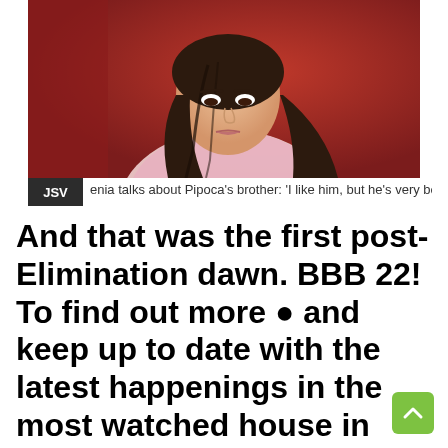[Figure (photo): A young woman with long dark hair and a pink top, photographed against a red background, looking downward with a serious expression.]
JSV enia talks about Pipoca’s brother: ‘I like him, but he’s very boring’
And that was the first post-Elimination dawn. BBB 22! To find out more and keep up to date with the latest happenings in the most watched house in Brazil, just stay tuned to #RedeBBB!